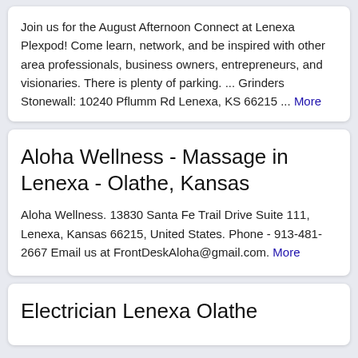Join us for the August Afternoon Connect at Lenexa Plexpod! Come learn, network, and be inspired with other area professionals, business owners, entrepreneurs, and visionaries. There is plenty of parking. ... Grinders Stonewall: 10240 Pflumm Rd Lenexa, KS 66215 ... More
Aloha Wellness - Massage in Lenexa - Olathe, Kansas
Aloha Wellness. 13830 Santa Fe Trail Drive Suite 111, Lenexa, Kansas 66215, United States. Phone - 913-481-2667 Email us at FrontDeskAloha@gmail.com. More
Electrician Lenexa Olathe